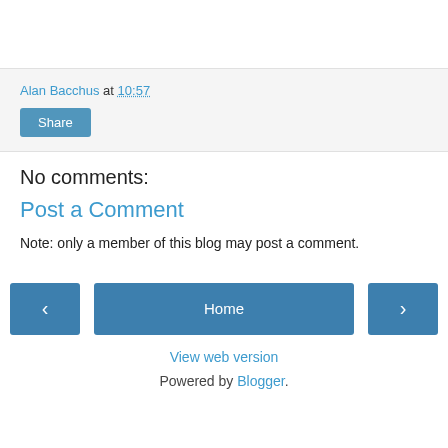Alan Bacchus at 10:57
Share
No comments:
Post a Comment
Note: only a member of this blog may post a comment.
‹  Home  ›
View web version
Powered by Blogger.